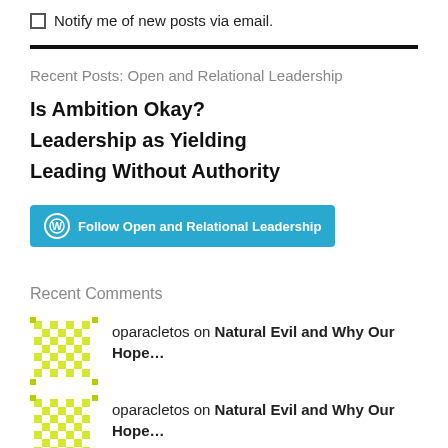Notify me of new posts via email.
Recent Posts: Open and Relational Leadership
Is Ambition Okay?
Leadership as Yielding
Leading Without Authority
Follow Open and Relational Leadership
Recent Comments
oparacletos on Natural Evil and Why Our Hope…
oparacletos on Natural Evil and Why Our Hope…